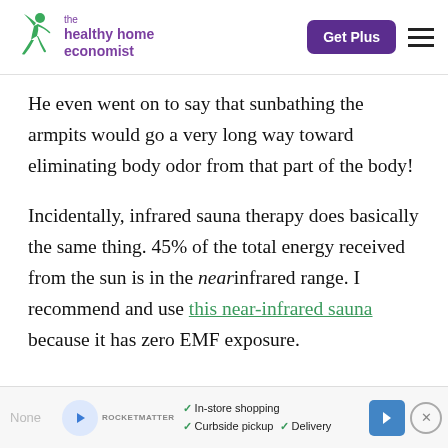the healthy home economist | Get Plus
He even went on to say that sunbathing the armpits would go a very long way toward eliminating body odor from that part of the body!
Incidentally, infrared sauna therapy does basically the same thing. 45% of the total energy received from the sun is in the near infrared range. I recommend and use this near-infrared sauna because it has zero EMF exposure.
None | In-store shopping | Curbside pickup | Delivery | [ad close]